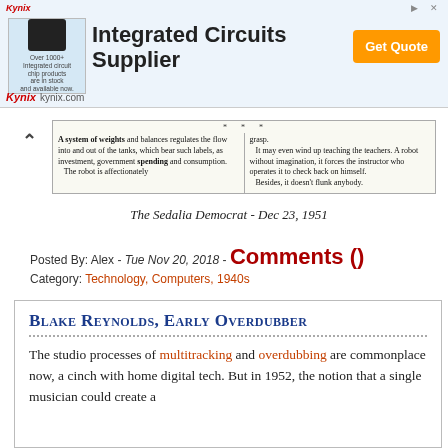[Figure (other): Kynix Integrated Circuits Supplier advertisement banner with chip image and Get Quote button]
[Figure (other): Scanned newspaper clipping showing text about a system of weights and balances, robots, and teaching. Two-column layout with decorative dots.]
The Sedalia Democrat - Dec 23, 1951
Posted By: Alex - Tue Nov 20, 2018 - Comments () Category: Technology, Computers, 1940s
Blake Reynolds, Early Overdubber
The studio processes of multitracking and overdubbing are commonplace now, a cinch with home digital tech. But in 1952, the notion that a single musician could create a